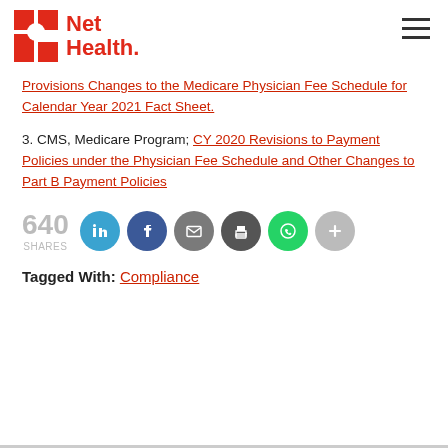[Figure (logo): Net Health logo with red N icon and red 'Net Health.' text]
Provisions Changes to the Medicare Physician Fee Schedule for Calendar Year 2021 Fact Sheet.
3. CMS, Medicare Program; CY 2020 Revisions to Payment Policies under the Physician Fee Schedule and Other Changes to Part B Payment Policies
[Figure (infographic): Social share row: 640 SHARES, LinkedIn, Facebook, Email, Print, WhatsApp, More buttons]
Tagged With: Compliance